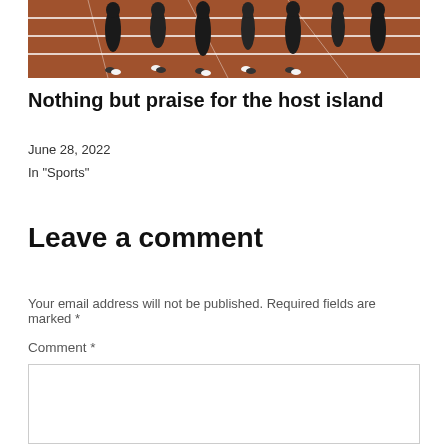[Figure (photo): Athletes walking on a red running track, viewed from behind at ground level, wearing dark athletic clothing]
Nothing but praise for the host island
June 28, 2022
In "Sports"
Leave a comment
Your email address will not be published. Required fields are marked *
Comment *